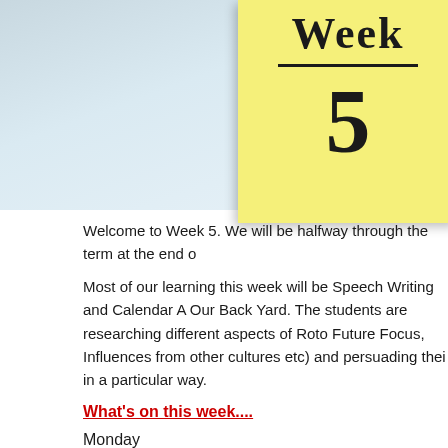[Figure (photo): Yellow sticky note with handwritten 'Week' and '5' on a light blue background]
Welcome to Week 5. We will be halfway through the term at the end o
Most of our learning this week will be Speech Writing and Calendar A Our Back Yard. The students are researching different aspects of Roto Future Focus, Influences from other cultures etc) and persuading thei in a particular way.
What's on this week....
Monday
Dance practice
Tuesday